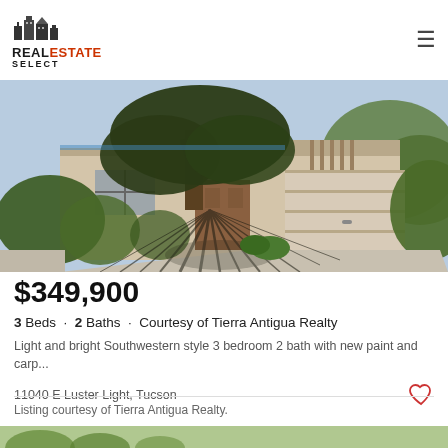REAL ESTATE SELECT
[Figure (photo): Exterior photo of a Southwestern-style single-story home with a large tree casting shadows on the driveway, desert landscaping, and a two-car garage.]
$349,900
3 Beds · 2 Baths · Courtesy of Tierra Antigua Realty
Light and bright Southwestern style 3 bedroom 2 bath with new paint and carp...
11040 E Luster Light, Tucson
Listing courtesy of Tierra Antigua Realty.
[Figure (photo): Partial view of a second property photo at the bottom of the page, showing green foliage.]